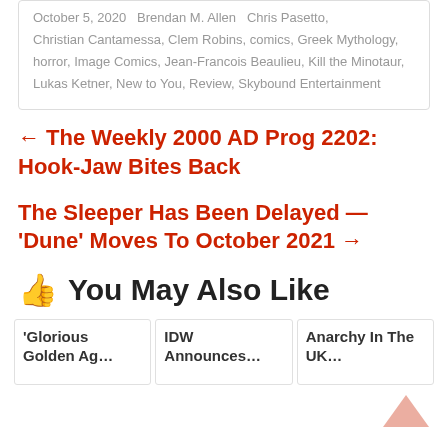October 5, 2020  Brendan M. Allen  Chris Pasetto, Christian Cantamessa, Clem Robins, comics, Greek Mythology, horror, Image Comics, Jean-Francois Beaulieu, Kill the Minotaur, Lukas Ketner, New to You, Review, Skybound Entertainment
← The Weekly 2000 AD Prog 2202: Hook-Jaw Bites Back
The Sleeper Has Been Delayed — 'Dune' Moves To October 2021 →
👍 You May Also Like
'Glorious Golden Ag…
IDW Announces…
Anarchy In The UK…